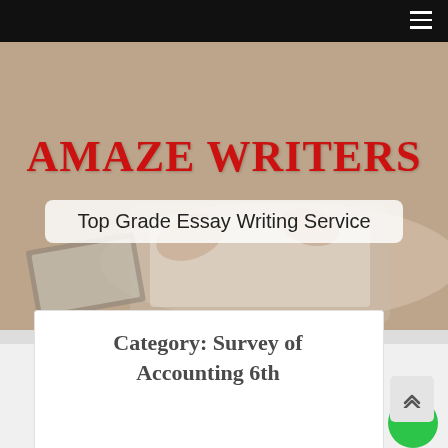AMAZE WRITERS
Top Grade Essay Writing Service
Category: Survey of Accounting 6th